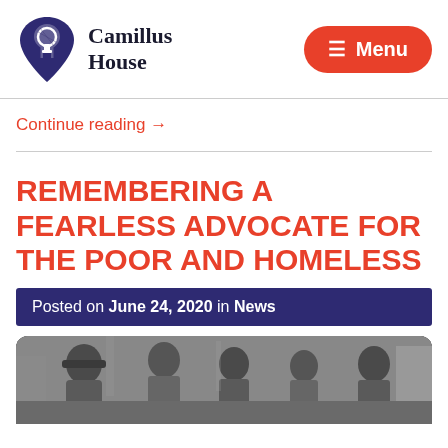Camillus House — Menu
Continue reading →
REMEMBERING A FEARLESS ADVOCATE FOR THE POOR AND HOMELESS
Posted on June 24, 2020 in News
[Figure (photo): Black and white photograph of a group of people, including individuals who appear to be experiencing homelessness, standing together outdoors.]